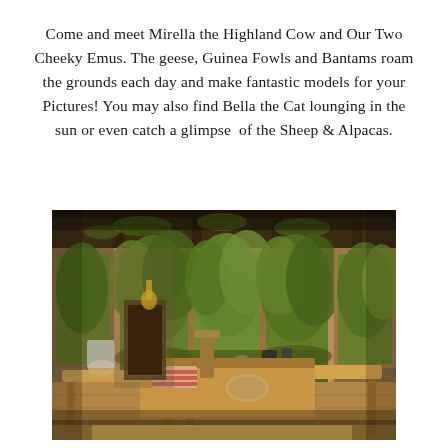Come and meet Mirella the Highland Cow and Our Two Cheeky Emus. The geese, Guinea Fowls and Bantams roam the grounds each day and make fantastic models for your Pictures! You may also find Bella the Cat lounging in the sun or even catch a glimpse of the Sheep & Alpacas.
[Figure (photo): Interior of a rustic stone cottage or cafe with wooden tables and benches, pew-style seating with striped cushions, large glass doors/windows opening to a lush green garden with trees, stone walls, and overhead pergola with climbing vines.]